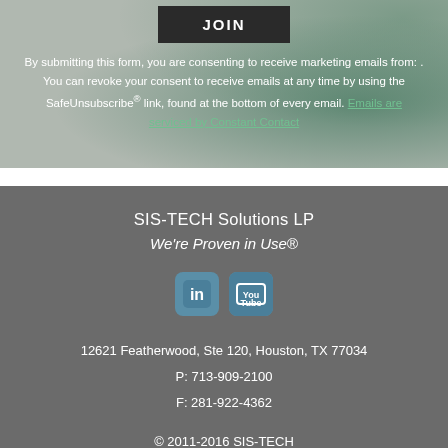JOIN
By submitting this form, you are consenting to receive marketing emails from: . You can revoke your consent to receive emails at any time by using the SafeUnsubscribe® link, found at the bottom of every email. Emails are serviced by Constant Contact
SIS-TECH Solutions LP
We're Proven in Use®
[Figure (logo): LinkedIn and YouTube social media icons]
12621 Featherwood, Ste 120, Houston, TX 77034
P: 713-909-2100
F: 281-922-4362
© 2011-2016 SIS-TECH